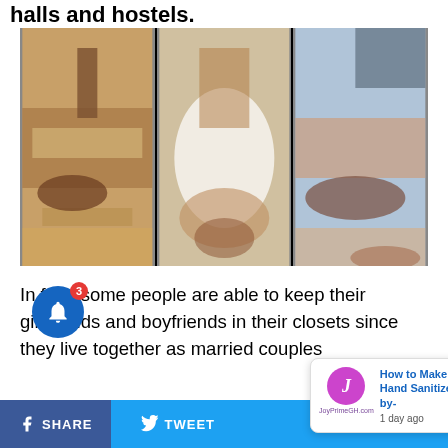halls and hostels.
[Figure (photo): Three side-by-side photos showing people lying/sitting on floor mattresses in a hostel/hall room setting.]
In fact, some people are able to keep their girlfriends and boyfriends in their closets since they live together as married couples
[Figure (screenshot): Notification popup from JoyPrimeGH.com: 'How to Make Your Own Hand Sanitizer : A Step-by-' posted 1 day ago, with an X close button.]
f SHARE | Twitter TWEET | ...